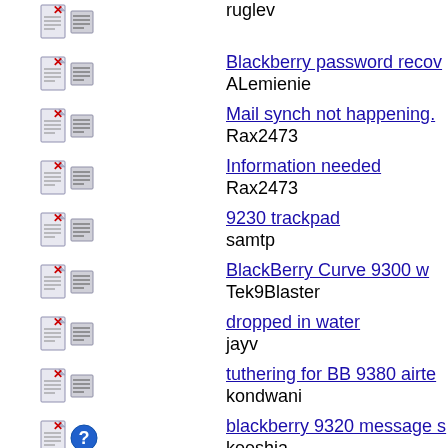ruglev
Blackberry password recov... | ALemienie
Mail synch not happening... | Rax2473
Information needed | Rax2473
9230 trackpad | samtp
BlackBerry Curve 9300 w... | Tek9Blaster
dropped in water | jayv
tuthering for BB 9380 airte... | kondwani
blackberry 9320 message s... | keeshia
Bbm disappear and trackpa...